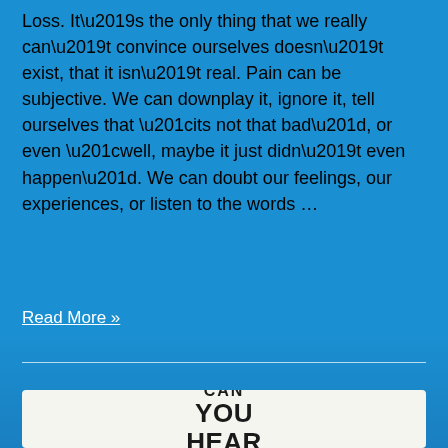Loss. It’s the only thing that we really can’t convince ourselves doesn’t exist, that it isn’t real. Pain can be subjective. We can downplay it, ignore it, tell ourselves that “its not that bad”, or even “well, maybe it just didn’t even happen”. We can doubt our feelings, our experiences, or listen to the words …
Read More »
[Figure (other): White card with bold text reading CAN YOU HEAR]